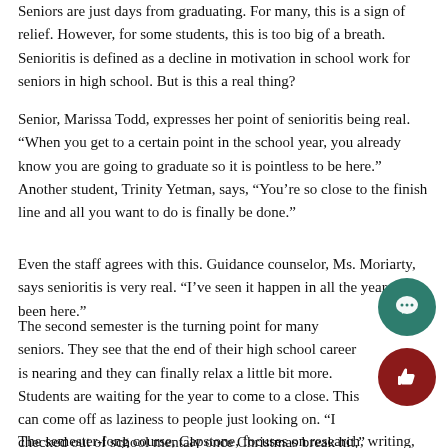Seniors are just days from graduating. For many, this is a sign of relief. However, for some students, this is too big of a breath. Senioritis is defined as a decline in motivation in school work for seniors in high school. But is this a real thing?
Senior, Marissa Todd, expresses her point of senioritis being real. “When you get to a certain point in the school year, you already know you are going to graduate so it is pointless to be here.” Another student, Trinity Yetman, says, “You’re so close to the finish line and all you want to do is finally be done.”
Even the staff agrees with this. Guidance counselor, Ms. Moriarty, says senioritis is very real. “I’ve seen it happen in all the years I’ve been here.”
The second semester is the turning point for many seniors. They see that the end of their high school career is nearing and they can finally relax a little bit more. Students are waiting for the year to come to a close. This can come off as laziness to people just looking on. “I checked out of school mentaly once Christmas break hit,” says Trinity.
The semester-long course, Capstone, focuses on research, writing, and more than. On this to also see it is to also to to to to to to for all...